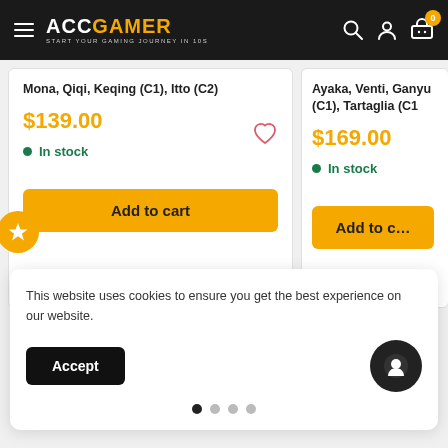ACCGAMER - START YOUR GAMING JOURNEY IN 10S
Mona, Qiqi, Keqing (C1), Itto (C2)
$139.00
In stock
Add to cart
Ayaka, Venti, Ganyu (C1), Tartaglia (C1)
$169.00
In stock
Add to cart
This website uses cookies to ensure you get the best experience on our website.
Accept